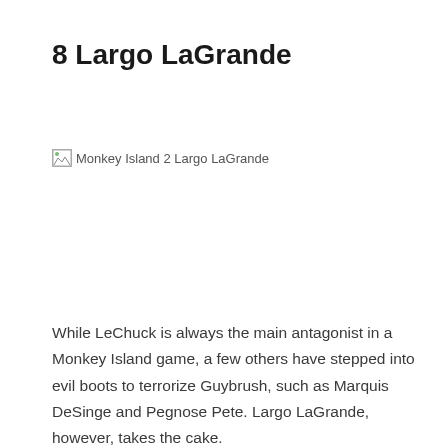8 Largo LaGrande
[Figure (illustration): Broken image placeholder labeled 'Monkey Island 2 Largo LaGrande']
While LeChuck is always the main antagonist in a Monkey Island game, a few others have stepped into evil boots to terrorize Guybrush, such as Marquis DeSinge and Pegnose Pete. Largo LaGrande, however, takes the cake.